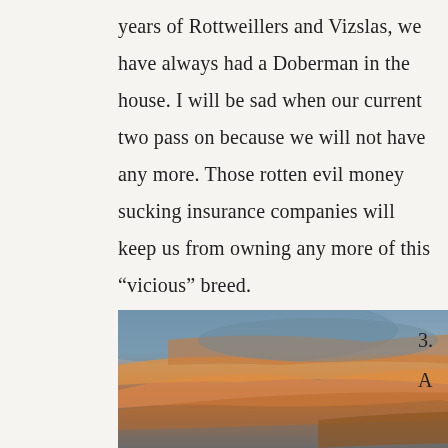years of Rottweillers and Vizslas, we have always had a Doberman in the house. I will be sad when our current two pass on because we will not have any more. Those rotten evil money sucking insurance companies will keep us from owning any more of this “vicious” breed.
[Figure (photo): A dramatic sunset sky with orange and golden clouds against a blue-grey sky, with a small dark silhouette visible at the bottom right.]
3.
A